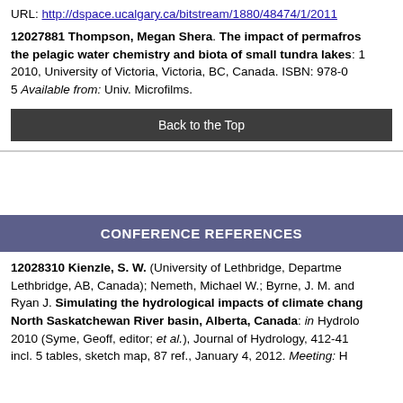URL: http://dspace.ucalgary.ca/bitstream/1880/48474/1/2011
12027881 Thompson, Megan Shera. The impact of permafrost… the pelagic water chemistry and biota of small tundra lakes: 1… 2010, University of Victoria, Victoria, BC, Canada. ISBN: 978-0… 5 Available from: Univ. Microfilms.
Back to the Top
CONFERENCE REFERENCES
12028310 Kienzle, S. W. (University of Lethbridge, Department… Lethbridge, AB, Canada); Nemeth, Michael W.; Byrne, J. M. and… Ryan J. Simulating the hydrological impacts of climate chang… North Saskatchewan River basin, Alberta, Canada: in Hydrolo… 2010 (Syme, Geoff, editor; et al.), Journal of Hydrology, 412-41… incl. 5 tables, sketch map, 87 ref., January 4, 2012. Meeting: H…